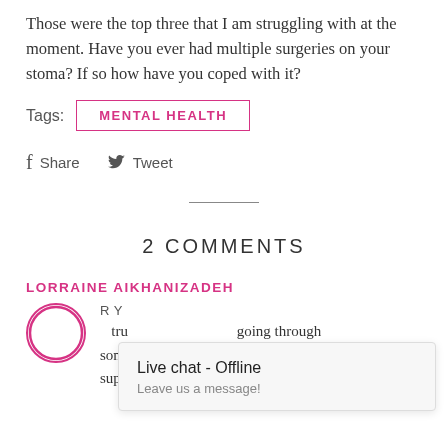Those were the top three that I am struggling with at the moment. Have you ever had multiple surgeries on your stoma? If so how have you coped with it?
Tags: MENTAL HEALTH
Share  Tweet
2 COMMENTS
LORRAINE AIKHANIZADEH
R Y
going through something like that with loved ones close by to support
[Figure (other): Live chat offline popup widget with text 'Live chat - Offline' and 'Leave us a message!']